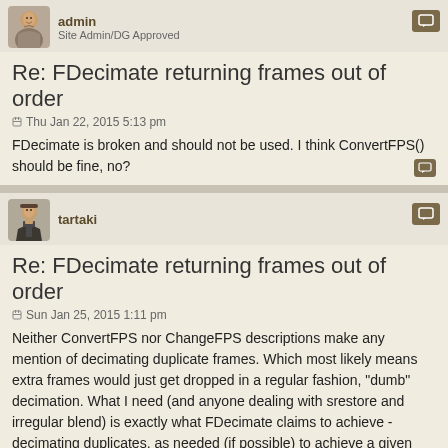admin
Site Admin/DG Approved
Re: FDecimate returning frames out of order
Thu Jan 22, 2015 5:13 pm
FDecimate is broken and should not be used. I think ConvertFPS() should be fine, no?
tartaki
Re: FDecimate returning frames out of order
Sun Jan 25, 2015 1:11 pm
Neither ConvertFPS nor ChangeFPS descriptions make any mention of decimating duplicate frames. Which most likely means extra frames would just get dropped in a regular fashion, "dumb" decimation. What I need (and anyone dealing with srestore and irregular blend) is exactly what FDecimate claims to achieve - decimating duplicates, as needed (if possible) to achieve a given fps. The test clip is practically guaranteed to have just enough duplicate frames to get 24 fps after decimation (I counted).
Looking at the code, I guess what's broken is the logic of which frames to keep, just a few lines. I could be wrong of course, I've never dealt with